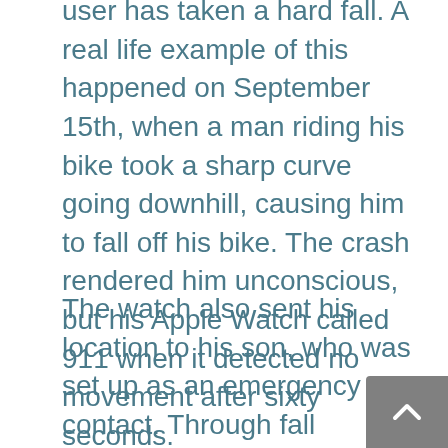user has taken a hard fall. A real life example of this happened on September 15th, when a man riding his bike took a sharp curve going downhill, causing him to fall off his bike. The crash rendered him unconscious, but his Apple Watch called 911 when it detected no movement after sixty seconds.
The watch also sent his location to his son, who was set up as an emergency contact. Through fall detection technology, the man was able to get treatment within minutes, and has since been discharged from the hospital with